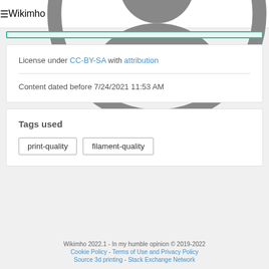Wikimho
License under CC-BY-SA with attribution
Content dated before 7/24/2021 11:53 AM
Tags used
print-quality
filament-quality
Wikimho 2022.1 - In my humble opinion © 2019-2022
Cookie Policy - Terms of Use and Privacy Policy
Source 3d printing - Stack Exchange Network